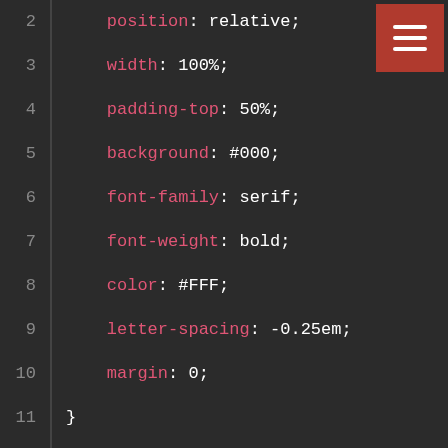[Figure (screenshot): Code editor screenshot showing CSS source code lines 2–20 with syntax highlighting on a dark background. A red hamburger menu button appears in the top-right corner.]